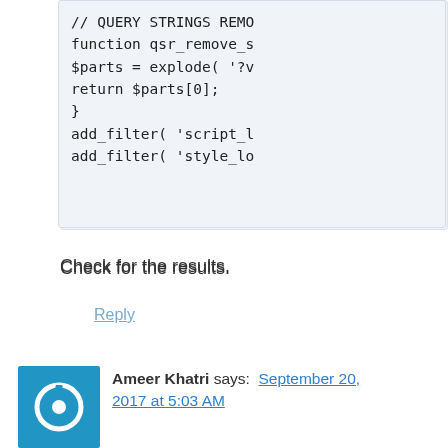[Figure (screenshot): Code block showing PHP snippet: // QUERY STRINGS REMO, function qsr_remove_s, $parts = explode( '?v, return $parts[0];, }, add_filter( 'script_l, add_filter( 'style_lo]
Check for the results.
Reply
Ameer Khatri says: September 20, 2017 at 5:03 AM
Hi Atul, I just downloaded your plugin to remove query strings, but i can't find the plugin in my WordPress dashboard. Can you please guide or is it automatic and i